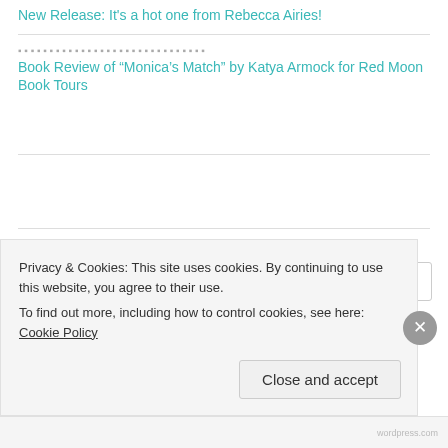New Release: It's a hot one from Rebecca Airies!
Book Review of “Monica’s Match” by Katya Armock for Red Moon Book Tours
FOLLOW MY BLOG
Enter your email address
Privacy & Cookies: This site uses cookies. By continuing to use this website, you agree to their use.
To find out more, including how to control cookies, see here: Cookie Policy
Close and accept